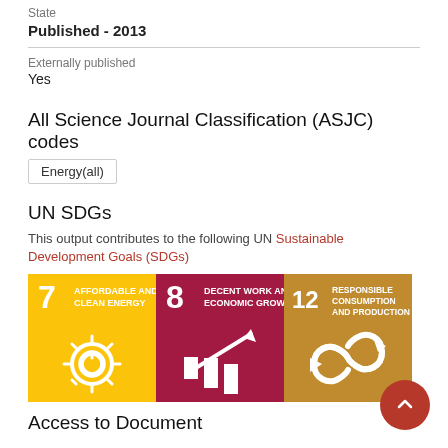State
Published - 2013
Externally published
Yes
All Science Journal Classification (ASJC) codes
Energy(all)
UN SDGs
This output contributes to the following UN Sustainable Development Goals (SDGs)
[Figure (infographic): Three UN SDG icons: SDG 7 Affordable and Clean Energy (yellow), SDG 8 Decent Work and Economic Growth (dark red/maroon), SDG 12 Responsible Consumption and Production (gold/dark yellow)]
Access to Document